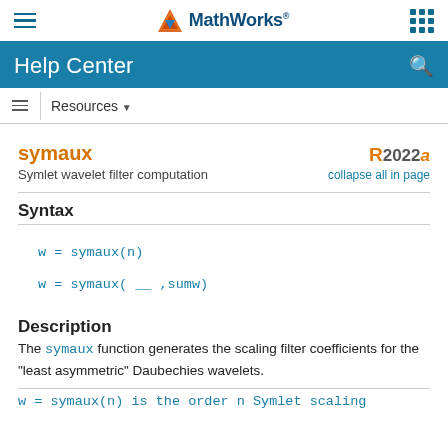MathWorks Help Center
symaux — Symlet wavelet filter computation — R2022a
Syntax
w = symaux(n)
w = symaux( __ ,sumw)
Description
The symaux function generates the scaling filter coefficients for the "least asymmetric" Daubechies wavelets.
w = symaux(n) is the order n Symlet scaling